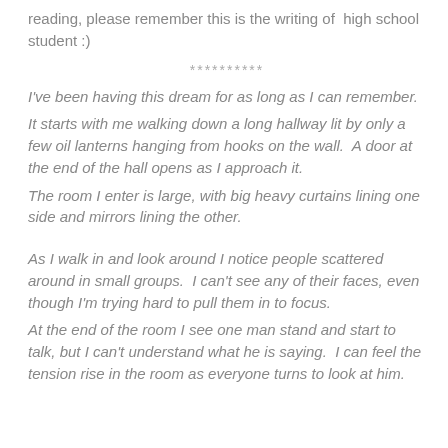reading, please remember this is the writing of  high school student :)
**********
I've been having this dream for as long as I can remember.
It starts with me walking down a long hallway lit by only a few oil lanterns hanging from hooks on the wall.  A door at the end of the hall opens as I approach it.
The room I enter is large, with big heavy curtains lining one side and mirrors lining the other.
As I walk in and look around I notice people scattered around in small groups.  I can't see any of their faces, even though I'm trying hard to pull them in to focus.
At the end of the room I see one man stand and start to talk, but I can't understand what he is saying.  I can feel the tension rise in the room as everyone turns to look at him.